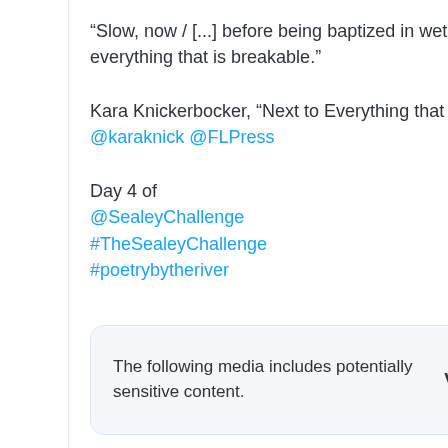“Slow, now / [...] before being baptized in wet cement / next to everything that is breakable.”
Kara Knickerbocker, “Next to Everything that is Breakable” @karaknick @FLPress
Day 4 of @SealeyChallenge #TheSealeyChallenge #poetrybytheriver
The following media includes potentially sensitive content.   View